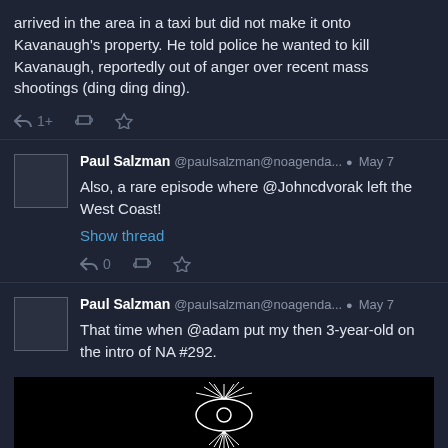arrived in the area in a taxi but did not make it onto Kavanaugh's property. He told police he wanted to kill Kavanaugh, reportedly out of anger over recent mass shootings (ding ding ding).
1+  retweet  star
Paul Salzman @paulsalzman@noagenda... May 7
Also, a rare episode where @Johncdvorak left the West Coast!
Show thread
0  retweet  star
Paul Salzman @paulsalzman@noagenda... May 7
That time when @adam put my then 3-year-old on the intro of NA #292.
[Figure (screenshot): Black image with white eye/pyramid illustration (No Agenda show logo)]